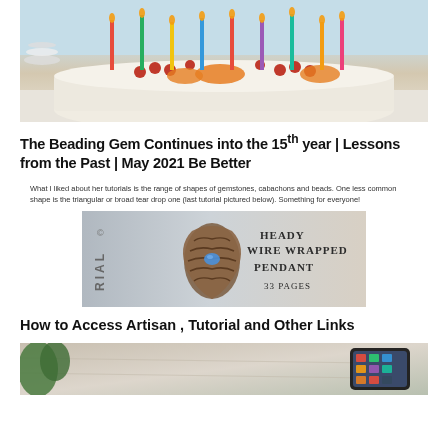[Figure (photo): Birthday cake with colorful lit candles and fruit toppings including cherries and orange slices]
The Beading Gem Continues into the 15th year | Lessons from the Past | May 2021 Be Better
What I liked about her tutorials is the range of shapes of gemstones, cabachons and beads. One less common shape is the triangular or broad tear drop one (last tutorial pictured below). Something for everyone!
[Figure (photo): Heady Wire Wrapped Pendant tutorial cover showing a wire-wrapped pendant with blue stone, 33 Pages]
How to Access Artisan , Tutorial and Other Links
[Figure (photo): Partial view of a smartphone and desk surface]